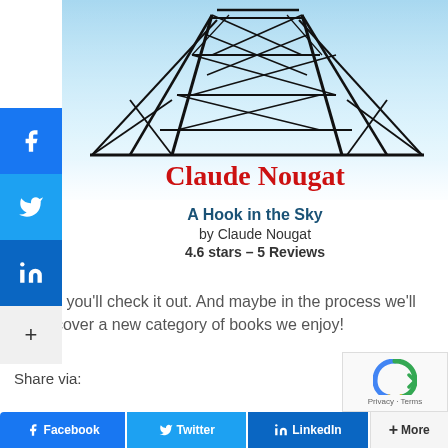[Figure (illustration): Book cover for 'A Hook in the Sky' by Claude Nougat, showing a black scaffold/tower structure on a light blue background with the author name in red text]
A Hook in the Sky
by Claude Nougat
4.6 stars – 5 Reviews
Maybe you'll check it out. And maybe in the process we'll all discover a new category of books we enjoy!
Share via: